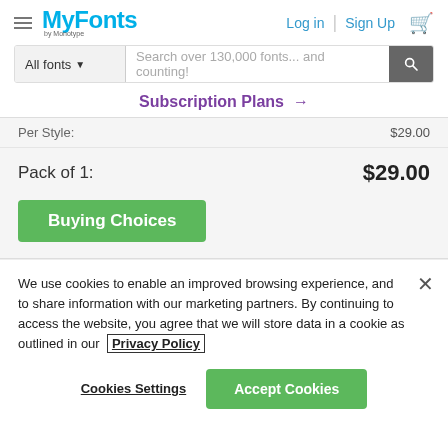MyFonts by Monotype — Log in | Sign Up
All fonts ▼  Search over 130,000 fonts... and counting!
Subscription Plans →
Per Style:  $29.00
Pack of 1:  $29.00
Buying Choices
We use cookies to enable an improved browsing experience, and to share information with our marketing partners. By continuing to access the website, you agree that we will store data in a cookie as outlined in our Privacy Policy
Cookies Settings
Accept Cookies